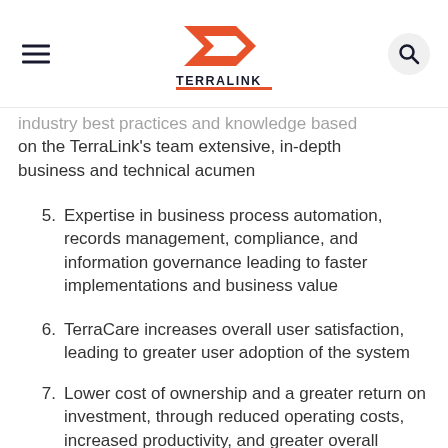TERRALINK
industry best practices and knowledge based on the TerraLink's team extensive, in-depth business and technical acumen
5. Expertise in business process automation, records management, compliance, and information governance leading to faster implementations and business value
6. TerraCare increases overall user satisfaction, leading to greater user adoption of the system
7. Lower cost of ownership and a greater return on investment, through reduced operating costs, increased productivity, and greater overall system usage
TerraLink Managed Services provide a strategic